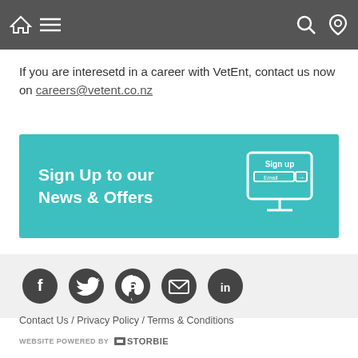Navigation bar with home, menu, search, and location icons
If you are interesetd in a career with VetEnt, contact us now on careers@vetent.co.nz
[Figure (infographic): Teal banner reading 'Sign Up to our News & Offers' with a monitor graphic and sign up button]
[Figure (infographic): Social media icons: Facebook, Twitter, Pinterest, Email, LinkedIn on grey background]
Contact Us / Privacy Policy / Terms & Conditions
WEBSITE POWERED BY STORBIE